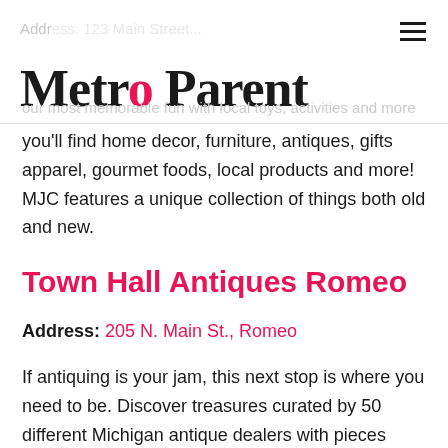Metro Parent
you'll find home decor, furniture, antiques, gifts apparel, gourmet foods, local products and more! MJC features a unique collection of things both old and new.
Town Hall Antiques Romeo
Address: 205 N. Main St., Romeo
If antiquing is your jam, this next stop is where you need to be. Discover treasures curated by 50 different Michigan antique dealers with pieces from all over the country!
Connelly's Creations